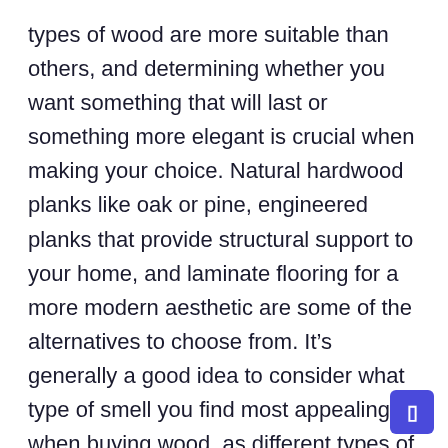types of wood are more suitable than others, and determining whether you want something that will last or something more elegant is crucial when making your choice. Natural hardwood planks like oak or pine, engineered planks that provide structural support to your home, and laminate flooring for a more modern aesthetic are some of the alternatives to choose from. It’s generally a good idea to consider what type of smell you find most appealing when buying wood, as different types of wood give off different aromas.
Nature, color and comfort are all essential aspects of everyday life to consider. When you want to break away from your daily grind and